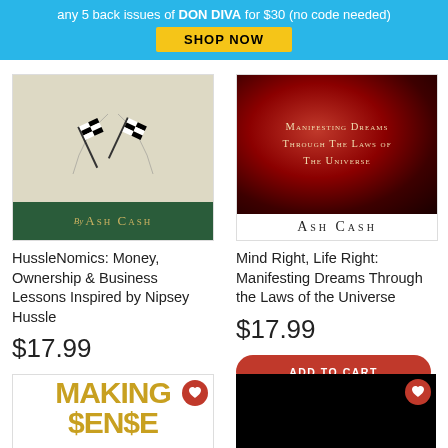any 5 back issues of DON DIVA for $30 (no code needed)
SHOP NOW
[Figure (illustration): Book cover: HussleNomics by Ash Cash, green bottom bar with checkered flags]
HussleNomics: Money, Ownership & Business Lessons Inspired by Nipsey Hussle
$17.99
ADD TO CART
[Figure (illustration): Book cover: Mind Right Life Right - Manifesting Dreams Through The Laws of The Universe by Ash Cash, red nebula background with author name]
Mind Right, Life Right: Manifesting Dreams Through the Laws of the Universe
$17.99
ADD TO CART
[Figure (illustration): Partial book cover showing MAKING $EN$E in gold text on white background, with red heart icon]
[Figure (illustration): Partial product image on black background with red heart icon]